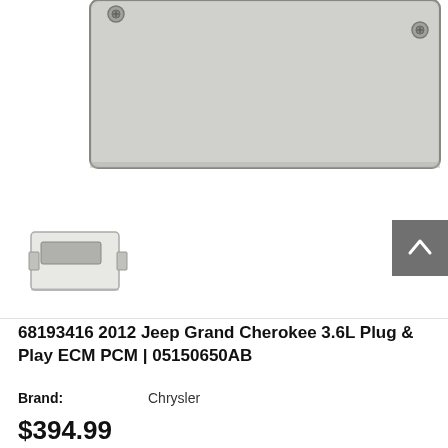[Figure (photo): Top portion of a silver/gray automotive ECM PCM module shown from above, rectangular metal housing with corner screws visible]
[Figure (photo): Small thumbnail image of the ECM PCM module shown from the front, white/gray rectangular unit with connector ports]
68193416 2012 Jeep Grand Cherokee 3.6L Plug & Play ECM PCM | 05150650AB
Brand: Chrysler
$394.99